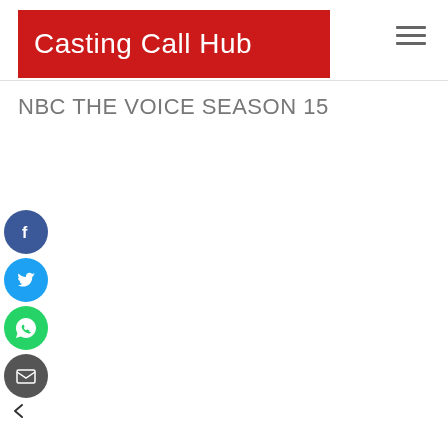Casting Call Hub
NBC THE VOICE SEASON 15
[Figure (infographic): Social sharing icons: Facebook (blue circle), Twitter (blue circle), WhatsApp (green circle), Email (dark grey circle), and a back arrow icon below them.]